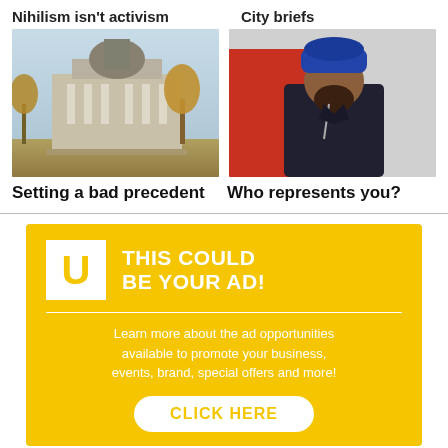Nihilism isn't activism
City briefs
[Figure (photo): Photo of a government/parliament building with autumn trees]
[Figure (photo): Photo of a man wearing a blue turban and dark jacket standing in front of a red wall]
Setting a bad precedent
Who represents you?
[Figure (infographic): Yellow advertisement banner with white U logo box and text: THIS COULD BE YOUR AD! Learn more about the ad opportunities available to promote your business, events, brand, special offers and more! CLICK HERE]